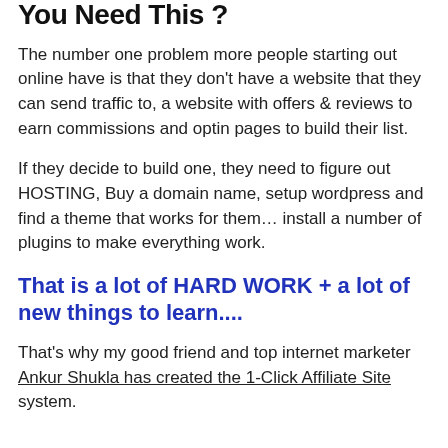You Need This ?
The number one problem more people starting out online have is that they don't have a website that they can send traffic to, a website with offers & reviews to earn commissions and optin pages to build their list.
If they decide to build one, they need to figure out HOSTING, Buy a domain name, setup wordpress and find a theme that works for them… install a number of plugins to make everything work.
That is a lot of HARD WORK + a lot of new things to learn....
That's why my good friend and top internet marketer Ankur Shukla has created the 1-Click Affiliate Site system.